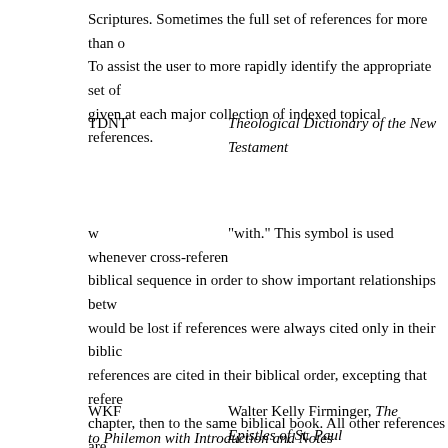Scriptures. Sometimes the full set of references for more than o To assist the user to more rapidly identify the appropriate set of given at each major collection of indexed topical references.
TDNT    Theological Dictionary of the New Testament
w    "with." This symbol is used whenever cross-referen biblical sequence in order to show important relationships betw would be lost if references were always cited only in their biblic references are cited in their biblical order, excepting that refere chapter, then to the same biblical book. All other references are sound rule of interpretation to seek first to understand the mean reference to the use of the same or similar language in the same "w" has been reduced in this resource by more often spelling ou
WKF    Walter Kelly Firminger, The Epistles of St. Paul to Philemon with Introduction and Notes